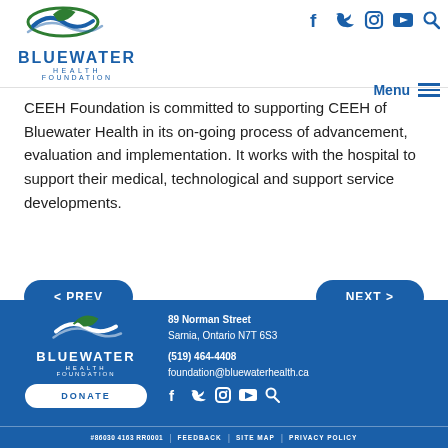[Figure (logo): Bluewater Health Foundation logo with wave/leaf icon, blue text]
[Figure (infographic): Social media icons: Facebook, Twitter, Instagram, YouTube, Search in blue; Menu button with hamburger icon]
CEEH Foundation is committed to supporting CEEH of Bluewater Health in its on-going process of advancement, evaluation and implementation. It works with the hospital to support their medical, technological and support service developments.
< PREV
NEXT >
[Figure (logo): Bluewater Health Foundation white logo on blue background]
DONATE
89 Norman Street
Sarnia, Ontario N7T 6S3

(519) 464-4408
foundation@bluewaterhealth.ca
[Figure (infographic): White social media icons on blue: Facebook, Twitter, Instagram, YouTube, Search]
#86030 4163 RR0001  FEEDBACK  SITE MAP  PRIVACY POLICY